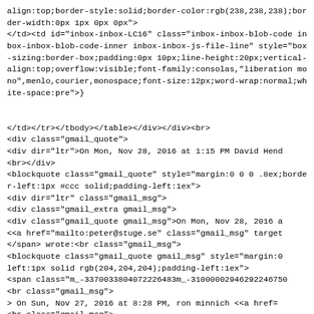align:top;border-style:solid;border-color:rgb(238,238,238);border-width:0px 1px 0px 0px">
</td><td id="inbox-inbox-LC16" class="inbox-inbox-blob-code inbox-inbox-blob-code-inner inbox-inbox-js-file-line" style="box-sizing:border-box;padding:0px 10px;line-height:20px;vertical-align:top;overflow:visible;font-family:consolas,"liberation mono",menlo,courier,monospace;font-size:12px;word-wrap:normal;white-space:pre">


</td></tr></tbody></table></div></div><br>
<div class="gmail_quote">
<div dir="ltr">On Mon, Nov 28, 2016 at 1:15 PM David Hend
<br></div>
<blockquote class="gmail_quote" style="margin:0 0 0 .8ex;border-left:1px #ccc solid;padding-left:1ex">
<div dir="ltr" class="gmail_msg">
<div class="gmail_extra gmail_msg">
<div class="gmail_quote gmail_msg">On Mon, Nov 28, 2016 a
<<a href="mailto:peter@stuge.se" class="gmail_msg" target
</span> wrote:<br class="gmail_msg">
<blockquote class="gmail_quote gmail_msg" style="margin:0
left:1px solid rgb(204,204,204);padding-left:1ex">
<span class="m_-3370033804072226483m_-31000002946292246750
<br class="gmail_msg">
> On Sun, Nov 27, 2016 at 8:28 PM, ron minnich <<a href=
<br class="gmail_msg">
</span>
<span class="m_-3370033804072226483m_-310000029462922467